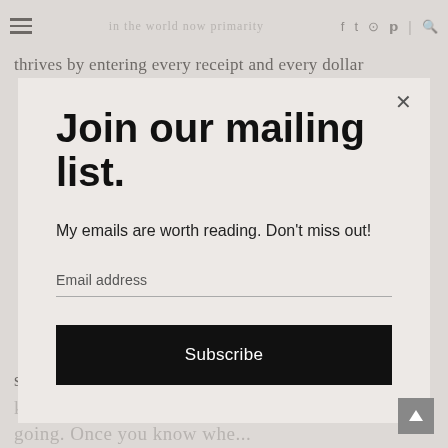≡  [site title]  f  t  ⊙  p  |  🔍
thrives by entering every receipt and every dollar
Join our mailing list.
My emails are worth reading. Don't miss out!
Email address
Subscribe
saving is not budgeting | knowing where your money going. Once you know whe...